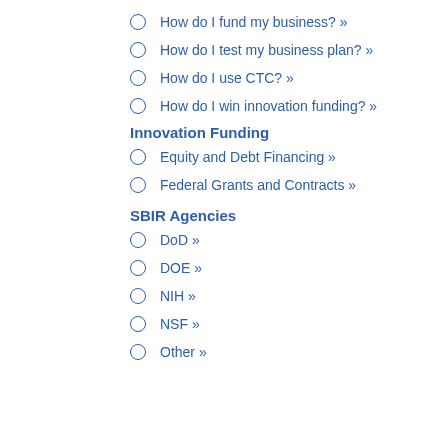How do I fund my business? »
How do I test my business plan? »
How do I use CTC? »
How do I win innovation funding? »
Innovation Funding
Equity and Debt Financing »
Federal Grants and Contracts »
SBIR Agencies
DoD »
DOE »
NIH »
NSF »
Other »